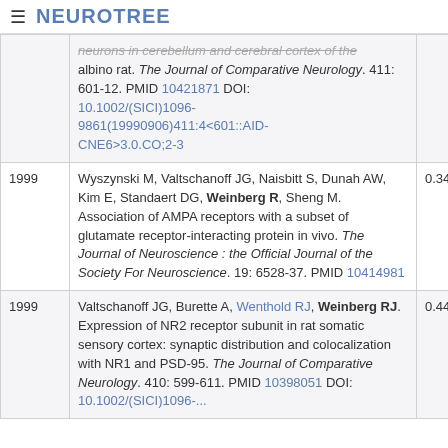≡ NEUROTREE
| Year | Reference | Score |
| --- | --- | --- |
|  | neurons in cerebellum and cerebral cortex of the albino rat. The Journal of Comparative Neurology. 411: 601-12. PMID 10421871 DOI: 10.1002/(SICI)1096-9861(19990906)411:4<601::AID-CNE6>3.0.CO;2-3 |  |
| 1999 | Wyszynski M, Valtschanoff JG, Naisbitt S, Dunah AW, Kim E, Standaert DG, Weinberg R, Sheng M. Association of AMPA receptors with a subset of glutamate receptor-interacting protein in vivo. The Journal of Neuroscience : the Official Journal of the Society For Neuroscience. 19: 6528-37. PMID 10414981 | 0.341 |
| 1999 | Valtschanoff JG, Burette A, Wenthold RJ, Weinberg RJ. Expression of NR2 receptor subunit in rat somatic sensory cortex: synaptic distribution and colocalization with NR1 and PSD-95. The Journal of Comparative Neurology. 410: 599-611. PMID 10398051 DOI: 10.1002/(SICI)1096-... | 0.447 |